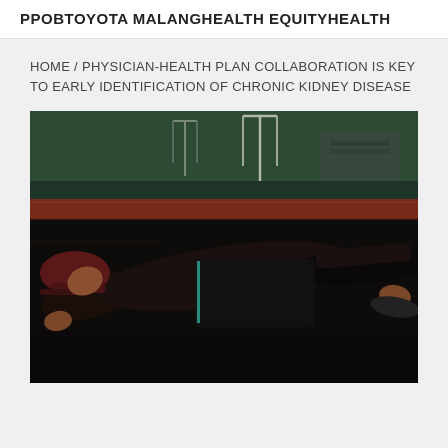PPOBTOYOTA MALANGHEALTH EQUITYHEALTH
HOME / PHYSICIAN-HEALTH PLAN COLLABORATION IS KEY TO EARLY IDENTIFICATION OF CHRONIC KIDNEY DISEASE
[Figure (photo): A shirtless man wearing a dark red cap doing a push-up or plank position on a red running track, with a sports field and goal posts visible in the background at dusk or night.]